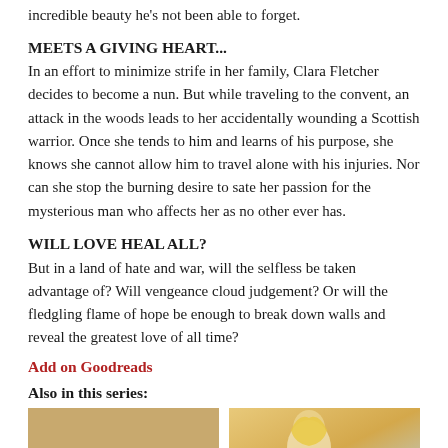incredible beauty he's not been able to forget.
MEETS A GIVING HEART...
In an effort to minimize strife in her family, Clara Fletcher decides to become a nun. But while traveling to the convent, an attack in the woods leads to her accidentally wounding a Scottish warrior. Once she tends to him and learns of his purpose, she knows she cannot allow him to travel alone with his injuries. Nor can she stop the burning desire to sate her passion for the mysterious man who affects her as no other ever has.
WILL LOVE HEAL ALL?
But in a land of hate and war, will the selfless be taken advantage of? Will vengeance cloud judgement? Or will the fledgling flame of hope be enough to break down walls and reveal the greatest love of all time?
Add on Goodreads
Also in this series:
[Figure (photo): Book cover: USA Today Bestselling Author Madeline Martin — castle in background, warm tones]
[Figure (photo): Book cover: Marderland Rebels — woman with golden hair, fantasy setting with dark helmet/shield logo]